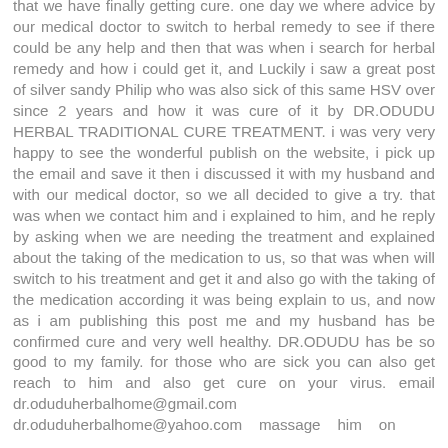that we have finally getting cure. one day we where advice by our medical doctor to switch to herbal remedy to see if there could be any help and then that was when i search for herbal remedy and how i could get it, and Luckily i saw a great post of silver sandy Philip who was also sick of this same HSV over since 2 years and how it was cure of it by DR.ODUDU HERBAL TRADITIONAL CURE TREATMENT. i was very very happy to see the wonderful publish on the website, i pick up the email and save it then i discussed it with my husband and with our medical doctor, so we all decided to give a try. that was when we contact him and i explained to him, and he reply by asking when we are needing the treatment and explained about the taking of the medication to us, so that was when will switch to his treatment and get it and also go with the taking of the medication according it was being explain to us, and now as i am publishing this post me and my husband has be confirmed cure and very well healthy. DR.ODUDU has be so good to my family. for those who are sick you can also get reach to him and also get cure on your virus. email dr.oduduherbalhome@gmail.com dr.oduduherbalhome@yahoo.com massage him on